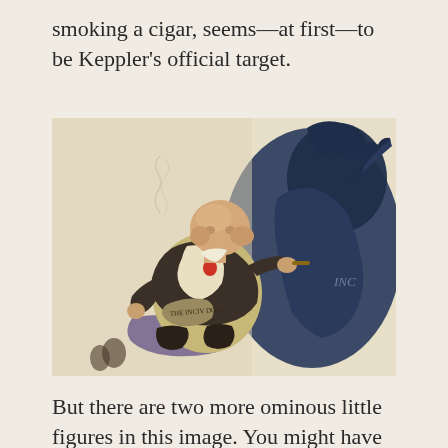smoking a cigar, seems—at first—to be Keppler's official target.
[Figure (illustration): A political cartoon illustration showing a fat, bald man in a dark jacket sitting in a chair, smoking a cigar. He sits on or near a bag labeled 'THE INCIV DOL...' (The Indian Dollar or similar). On the right side of the image, a large dark blue/navy shadow of a menacing figure looms on the wall behind him, with text 'INC' partially visible on the shadow. The contrast between the complacent seated figure and the ominous shadow is the central visual element.]
But there are two more ominous little figures in this image. You might have noticed them,